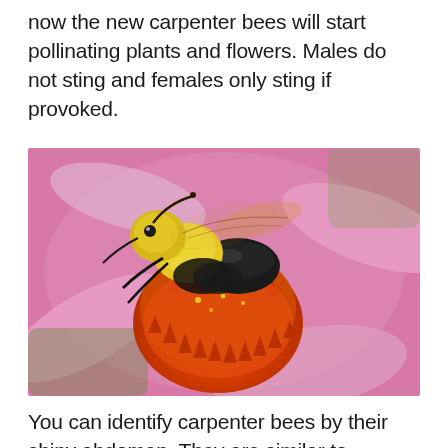now the new carpenter bees will start pollinating plants and flowers. Males do not sting and females only sting if provoked.
[Figure (photo): Close-up photograph of a carpenter bee on a coneflower (echinacea). The bee has a yellow and black fuzzy body with a dark shiny abdomen, perched on the orange-red spiky center of a pink coneflower. The background shows blurred pink petals and green foliage.]
You can identify carpenter bees by their shiny abdomen. They are similar to bumble bees in